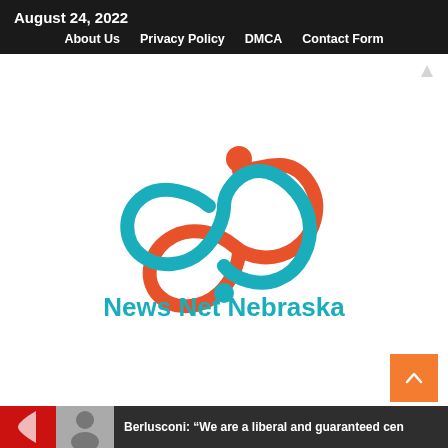August 24, 2022  About Us  Privacy Policy  DMCA  Contact Form
[Figure (logo): News Net Nebraska logo: infinity symbol in teal and orange with a dot above and below, with text 'News Net Nebraska' in teal below]
Berlusconi: “We are a liberal and guaranteed cen